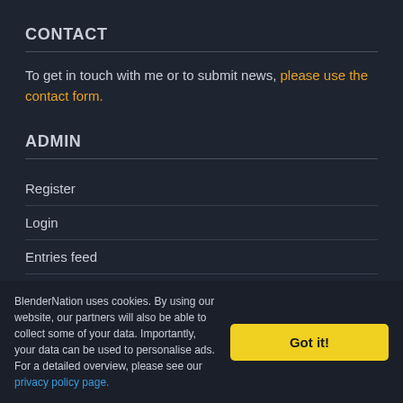CONTACT
To get in touch with me or to submit news, please use the contact form.
ADMIN
Register
Login
Entries feed
Comments feed
WordPress.org
BlenderNation uses cookies. By using our website, our partners will also be able to collect some of your data. Importantly, your data can be used to personalise ads. For a detailed overview, please see our privacy policy page.